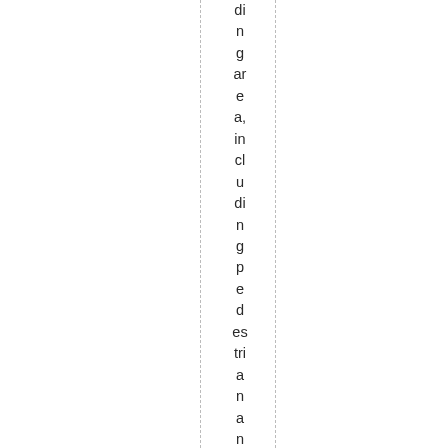ding area, including pedestrian and cyclist safety. We